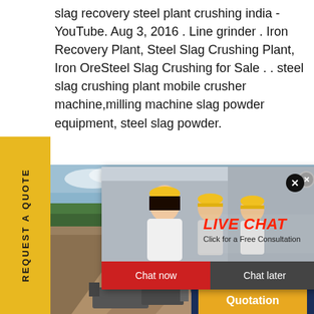slag recovery steel plant crushing india - YouTube. Aug 3, 2016 . Line grinder . Iron Recovery Plant, Steel Slag Crushing Plant, Iron OreSteel Slag Crushing for Sale . . steel slag crushing plant mobile crusher machine,milling machine slag powder equipment, steel slag powder.
[Figure (screenshot): Yellow sidebar with 'REQUEST A QUOTE' text rotated vertically, a live chat popup showing workers in hard hats with 'LIVE CHAT Click for a Free Consultation' header, Chat now and Chat later buttons, a quarry/crushing plant background image, a customer service agent photo on the right, and a 'Have any requests, click here.' box with Quotation button.]